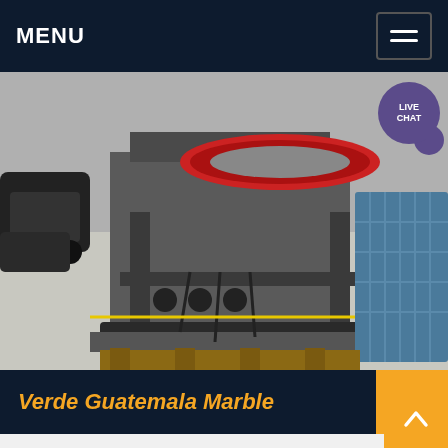MENU
[Figure (photo): Industrial heavy machinery (large press or crusher) in a factory setting, shown in grey with red circular element on top, blue pallets on right side, parked cars visible on left background.]
Verde Guatemala Marble
Verde Guatemala Marble is a kind of green marble quarried in India. This stone is especially good for Countertops, monument, mosaic, exterior interior wall and floor appliions, fountains, pool and wall capping,